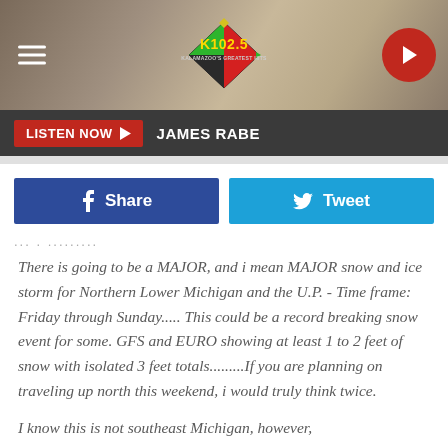[Figure (screenshot): K102.5 Kalamazoo's Greatest Hits radio station logo with red diamond shape and green/yellow accents, on a tan/beige blurred background header]
LISTEN NOW  JAMES RABE
[Figure (infographic): Facebook Share button (dark blue) and Twitter Tweet button (light blue) side by side]
... . .........
There is going to be a MAJOR, and i mean MAJOR snow and ice storm for Northern Lower Michigan and the U.P. - Time frame: Friday through Sunday..... This could be a record breaking snow event for some. GFS and EURO showing at least 1 to 2 feet of snow with isolated 3 feet totals.........If you are planning on traveling up north this weekend, i would truly think twice.
I know this is not southeast Michigan, however,